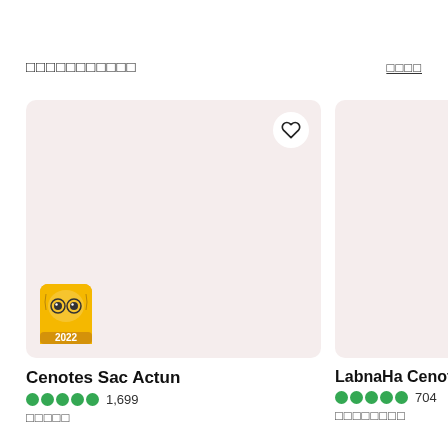□□□□□□□□□□□
□□□□
[Figure (photo): Card image for Cenotes Sac Actun with pink background, heart icon, and 2022 TripAdvisor badge]
Cenotes Sac Actun
1,699
□□□□□
[Figure (photo): Card image for LabnaHa Cenotes with pink background]
LabnaHa Cenotes
704
□□□□□□□□